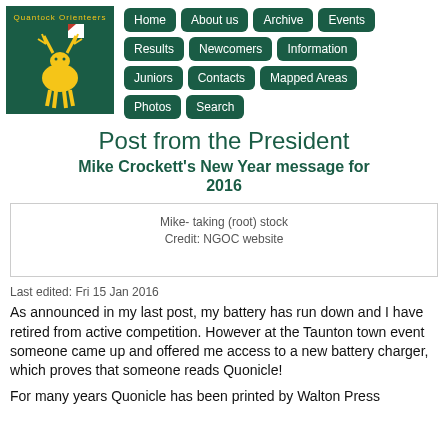[Figure (logo): Quantock Orienteers logo: dark green square with a deer/stag in yellow and a red/white orienteering flag]
Home | About us | Archive | Events | Results | Newcomers | Information | Juniors | Contacts | Mapped Areas | Photos | Search
Post from the President
Mike Crockett's New Year message for 2016
Mike- taking (root) stock
Credit: NGOC website
Last edited: Fri 15 Jan 2016
As announced in my last post, my battery has run down and I have retired from active competition. However at the Taunton town event someone came up and offered me access to a new battery charger, which proves that someone reads Quonicle!
For many years Quonicle has been printed by Walton Press